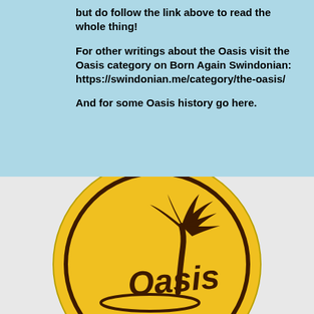but do follow the link above to read the whole thing!

For other writings about the Oasis visit the Oasis category on Born Again Swindonian:
https://swindonian.me/category/the-oasis/

And for some Oasis history go here.
[Figure (photo): A yellow circular badge/button with dark brown graphic of a palm tree and the word 'Oasis' in stylized script lettering, with partial text at the bottom being cut off.]